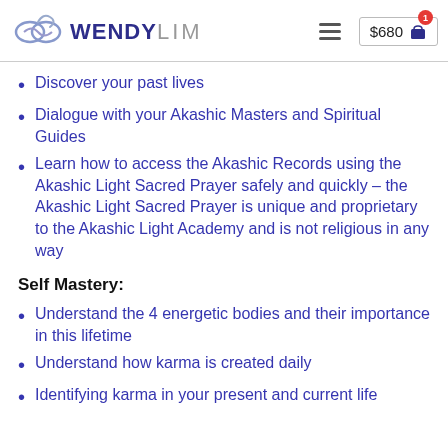WENDY LIM — $680 cart
Discover your past lives
Dialogue with your Akashic Masters and Spiritual Guides
Learn how to access the Akashic Records using the Akashic Light Sacred Prayer safely and quickly – the Akashic Light Sacred Prayer is unique and proprietary to the Akashic Light Academy and is not religious in any way
Self Mastery:
Understand the 4 energetic bodies and their importance in this lifetime
Understand how karma is created daily
Identifying karma in your present and current life